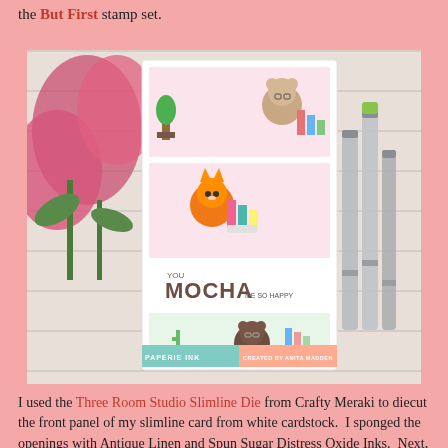the But First stamp set.
[Figure (photo): A slimline greeting card with three panels showing cute illustrated animals (bear, fox/cat, bear with glasses) in cozy settings. The card reads 'YOU MOCHA ME SO HAPPY'. Pink flowers and Copic markers are visible in the background. The card has watermarks 'PAPERIE INK' and 'CREATED BY ANITA MADDEN'.]
I used the Three Room Studio Slimline Die from Crafty Meraki to diecut the front panel of my slimline card from white cardstock.  I sponged the openings with Antique Linen and Spun Sugar Distress Oxide Inks.  Next, I spattered the inked panels with white acrylic Paint and Kitsch Flamingo Distress Oxide Ink.  I adhered the diecut panel to my card with foam tape.